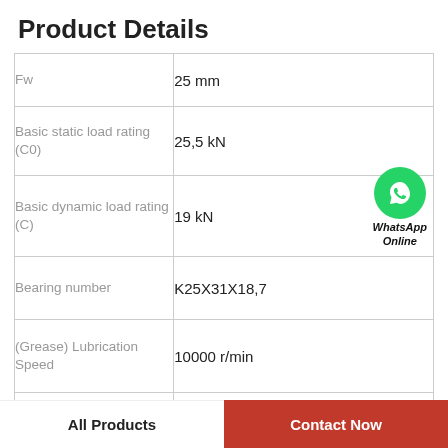Product Details
| Property | Value |
| --- | --- |
| Fw | 25 mm |
| Basic static load rating (C0) | 25,5 kN |
| Basic dynamic load rating (C) | 19 kN |
| Bearing number | K25X31X18,7 |
| (Grease) Lubrication Speed | 10000 r/min |
| Outer Diameter (mm) | 31,0 |
[Figure (logo): WhatsApp Online badge with green WhatsApp icon circle and italic bold text 'WhatsApp Online']
All Products   Contact Now